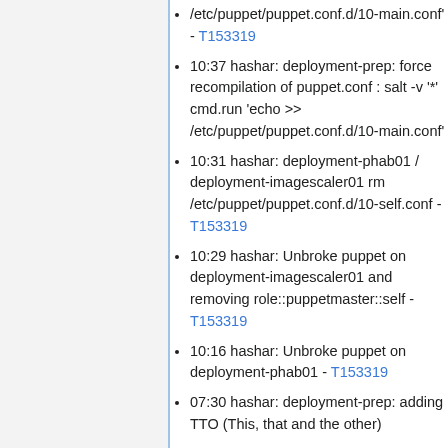/etc/puppet/puppet.conf.d/10-main.conf' - T153319
10:37 hashar: deployment-prep: force recompilation of puppet.conf : salt -v '*' cmd.run 'echo >> /etc/puppet/puppet.conf.d/10-main.conf'
10:31 hashar: deployment-phab01 / deployment-imagescaler01 rm /etc/puppet/puppet.conf.d/10-self.conf - T153319
10:29 hashar: Unbroke puppet on deployment-imagescaler01 and removing role::puppetmaster::self - T153319
10:16 hashar: Unbroke puppet on deployment-phab01 - T153319
07:30 hashar: deployment-prep: adding TTO (This, that and the other)